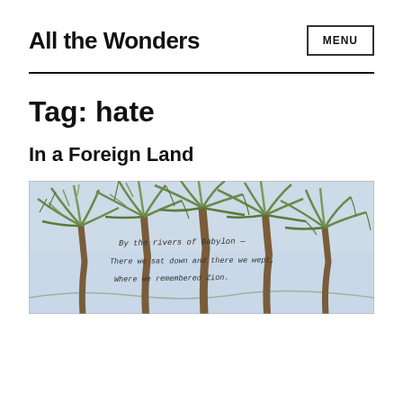All the Wonders
Tag: hate
In a Foreign Land
[Figure (illustration): A pencil/crayon drawing of palm trees with handwritten text overlay reading 'By the rivers of Babylon — There we sat down and there we wept, Where we remembered Zion']